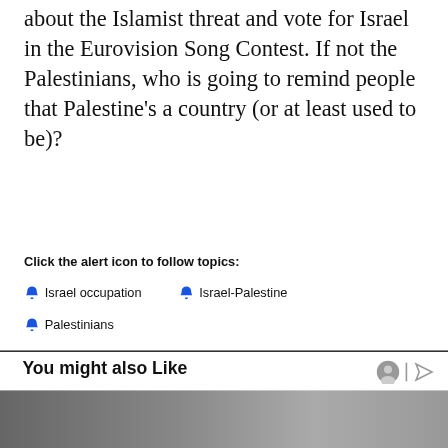about the Islamist threat and vote for Israel in the Eurovision Song Contest. If not the Palestinians, who is going to remind people that Palestine's a country (or at least used to be)?
Click the alert icon to follow topics:
🔔 Israel occupation
🔔 Israel-Palestine
🔔 Palestinians
You might also Like
[Figure (screenshot): Bottom navigation bar with Twitter, Facebook, hamburger menu, bookmark, and email icons; NEXT button with chevrons; on Newz Online label]